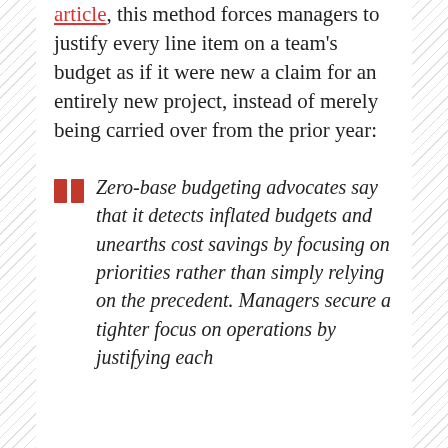article, this method forces managers to justify every line item on a team's budget as if it were new a claim for an entirely new project, instead of merely being carried over from the prior year:
Zero-base budgeting advocates say that it detects inflated budgets and unearths cost savings by focusing on priorities rather than simply relying on the precedent. Managers secure a tighter focus on operations by justifying each